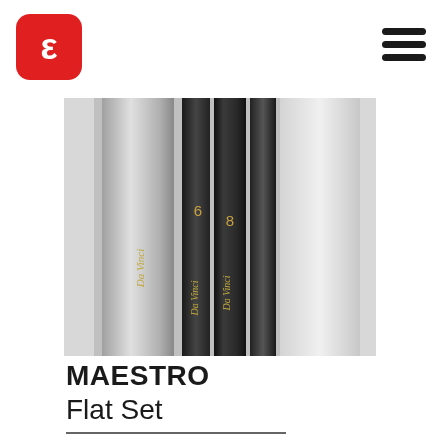[Figure (logo): Red rounded square logo with white arrow/epsilon symbol inside]
[Figure (illustration): Three black paint brushes (Da Vinci brand, Maestro series, sizes 4, 6, 8 flat) in packaging, close-up showing handles with gold lettering]
MAESTRO
Flat Set
[Figure (illustration): Hamburger menu icon (three horizontal black lines)]